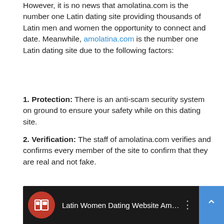However, it is no news that amolatina.com is the number one Latin dating site providing thousands of Latin men and women the opportunity to connect and date. Meanwhile, amolatina.com is the number one Latin dating site due to the following factors:
1. Protection: There is an anti-scam security system on ground to ensure your safety while on this dating site.
2. Verification: The staff of amolatina.com verifies and confirms every member of the site to confirm that they are real and not fake.
3. Engagement: There are quite lots of activities on the website from members worldwide.
You are sure to find love on this dating site, which is number one Latin dating site.
Latin Women Dating Website AmoLatina
[Figure (screenshot): Video bar at bottom showing iDateAdvice logo and text 'Latin Women Dating Website Amo...' with a vertical dots menu icon, on dark background. A blue scroll-to-top arrow button appears in bottom right.]